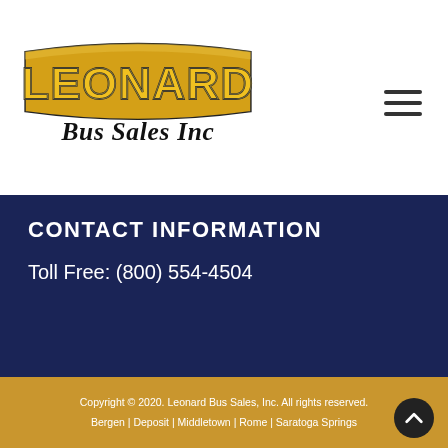[Figure (logo): Leonard Bus Sales Inc logo with gold stylized text and black script]
CONTACT INFORMATION
Toll Free: (800) 554-4504
Copyright © 2020. Leonard Bus Sales, Inc. All rights reserved.
Bergen | Deposit | Middletown | Rome | Saratoga Springs